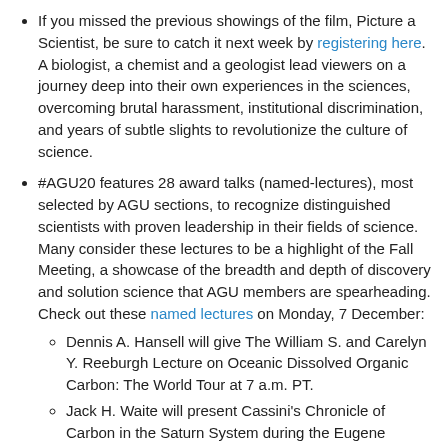If you missed the previous showings of the film, Picture a Scientist, be sure to catch it next week by registering here. A biologist, a chemist and a geologist lead viewers on a journey deep into their own experiences in the sciences, overcoming brutal harassment, institutional discrimination, and years of subtle slights to revolutionize the culture of science.
#AGU20 features 28 award talks (named-lectures), most selected by AGU sections, to recognize distinguished scientists with proven leadership in their fields of science. Many consider these lectures to be a highlight of the Fall Meeting, a showcase of the breadth and depth of discovery and solution science that AGU members are spearheading. Check out these named lectures on Monday, 7 December:
Dennis A. Hansell will give The William S. and Carelyn Y. Reeburgh Lecture on Oceanic Dissolved Organic Carbon: The World Tour at 7 a.m. PT.
Jack H. Waite will present Cassini's Chronicle of Carbon in the Saturn System during the Eugene Shoemaker Lecture at 7 a.m. PT.